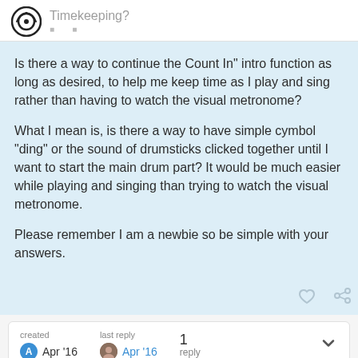Timekeeping?
Is there a way to continue the Count In" intro function as long as desired, to help me keep time as I play and sing rather than having to watch the visual metronome?

What I mean is, is there a way to have simple cymbol “ding” or the sound of drumsticks clicked together until I want to start the main drum part? It would be much easier while playing and singing than trying to watch the visual metronome.

Please remember I am a newbie so be simple with your answers.
created Apr '16   last reply Apr '16   1 reply